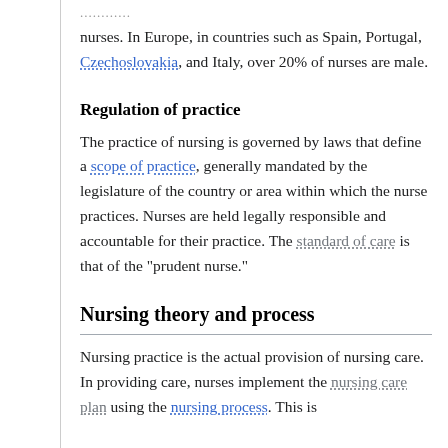............
nurses. In Europe, in countries such as Spain, Portugal, Czechoslovakia, and Italy, over 20% of nurses are male.
Regulation of practice
The practice of nursing is governed by laws that define a scope of practice, generally mandated by the legislature of the country or area within which the nurse practices. Nurses are held legally responsible and accountable for their practice. The standard of care is that of the "prudent nurse."
Nursing theory and process
Nursing practice is the actual provision of nursing care. In providing care, nurses implement the nursing care plan using the nursing process. This is